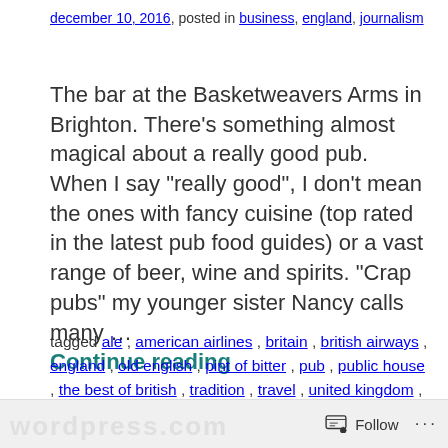december 10, 2016, posted in business, england, journalism
The bar at the Basketweavers Arms in Brighton. There's something almost magical about a really good pub. When I say "really good", I don't mean the ones with fancy cuisine (top rated in the latest pub food guides) or a vast range of beer, wine and spirits. "Crap pubs" my younger sister Nancy calls many … Continue reading
tagged ale, american airlines, britain, british airways, england, old english, pint of bitter, pub, public house, the best of british, tradition, travel, united kingdom, virgin atlantic     leave a comment